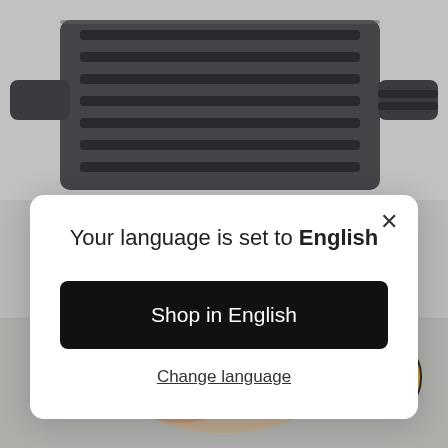[Figure (screenshot): Background showing a dark gray cast iron grill pan at the top, and a blurred food image at the bottom. A golden/amber colored pill-shaped hamburger menu bar is visible at the bottom of the screen.]
Your language is set to English
Shop in English
Change language